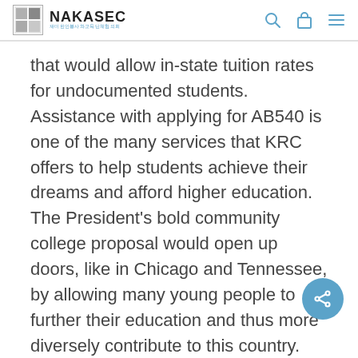NAKASEC
that would allow in-state tuition rates for undocumented students. Assistance with applying for AB540 is one of the many services that KRC offers to help students achieve their dreams and afford higher education. The President's bold community college proposal would open up doors, like in Chicago and Tennessee, by allowing many young people to further their education and thus more diversely contribute to this country. And we urge state policymakers to include the hardworking DACA recipients, like those who come into my office at KRC every